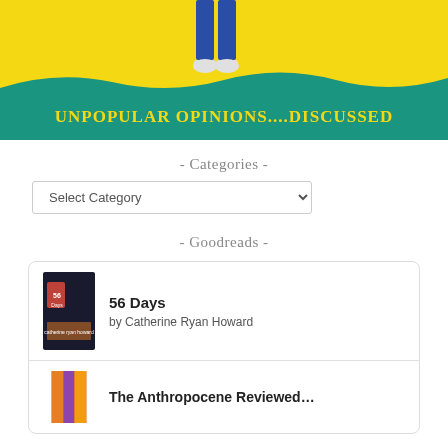[Figure (illustration): Blog banner image with yellow background, teal wave at bottom, person's legs in blue jeans and white sneakers visible at top, yellow text reading 'UNPOPULAR OPINIONS....DISCUSSED' in handwritten style on teal wave]
- Categories -
Select Category dropdown
- Goodreads -
56 Days by Catherine Ryan Howard
The Anthropocene Reviewed (partially visible)